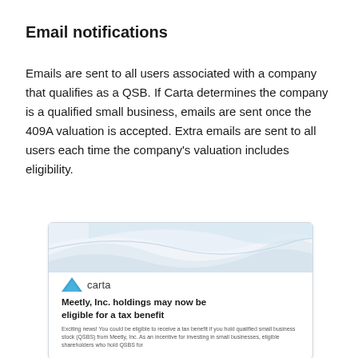Email notifications
Emails are sent to all users associated with a company that qualifies as a QSB. If Carta determines the company is a qualified small business, emails are sent once the 409A valuation is accepted. Extra emails are sent to all users each time the company's valuation includes eligibility.
[Figure (screenshot): Screenshot of a Carta email notification with wave graphic header, Carta logo, and headline 'Meetly, Inc. holdings may now be eligible for a tax benefit' followed by small body text about QSBS tax benefits.]